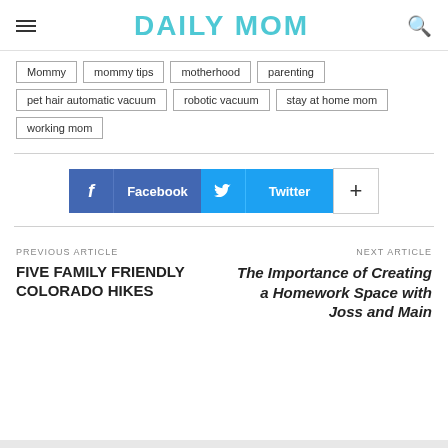DAILY MOM
Mommy
mommy tips
motherhood
parenting
pet hair automatic vacuum
robotic vacuum
stay at home mom
working mom
[Figure (other): Social share buttons: Facebook, Twitter, and a plus/more button]
PREVIOUS ARTICLE
FIVE FAMILY FRIENDLY COLORADO HIKES
NEXT ARTICLE
The Importance of Creating a Homework Space with Joss and Main